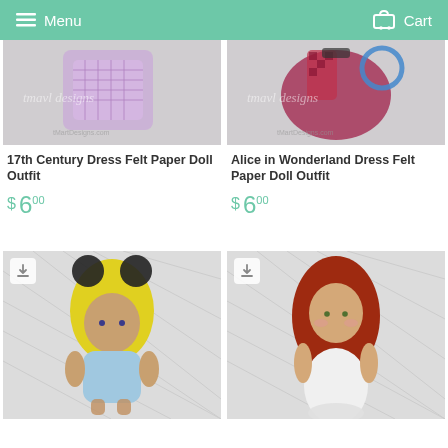Menu  Cart
[Figure (photo): 17th Century Dress Felt Paper Doll Outfit product image - embroidered felt dress design with tmavl designs watermark]
17th Century Dress Felt Paper Doll Outfit
$ 6 00
[Figure (photo): Alice in Wonderland Dress Felt Paper Doll Outfit product image - embroidered felt outfit with Alice theme, tmavl designs watermark]
Alice in Wonderland Dress Felt Paper Doll Outfit
$ 6 00
[Figure (photo): Alice in Wonderland character felt paper doll - yellow hair doll with blue dress, download badge icon]
[Figure (photo): Mermaid/redhead character felt paper doll - red hair doll with white tail, download badge icon]